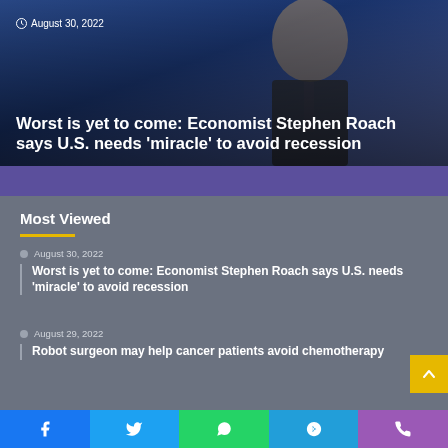[Figure (photo): A man in a suit speaking at a conference, blue background, overlaid with article date and headline text]
August 30, 2022
Worst is yet to come: Economist Stephen Roach says U.S. needs 'miracle' to avoid recession
Most Viewed
August 30, 2022
Worst is yet to come: Economist Stephen Roach says U.S. needs 'miracle' to avoid recession
August 29, 2022
Robot surgeon may help cancer patients avoid chemotherapy